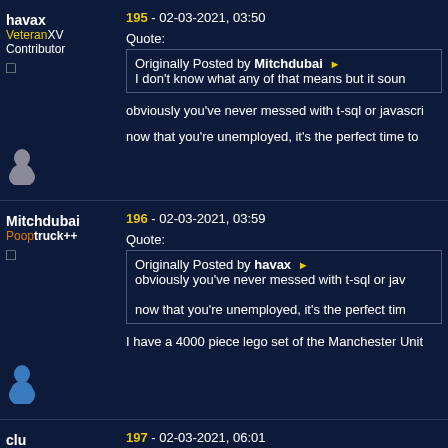havax VeteranXV Contributor
195 - 02-03-2021, 03:50
Quote: Originally Posted by Mitchdubai I don't know what any of that means but it soun
obviously you've never messed with t-sql or javascri
now that you're unemployed, it's the perfect time to
Mitchdubai Pooptruck++
196 - 02-03-2021, 03:59
Quote: Originally Posted by havax obviously you've never messed with t-sql or jav now that you're unemployed, it's the perfect tim
I have a 4000 piece lego set of the Manchester Unit
clu
197 - 02-03-2021, 06:01